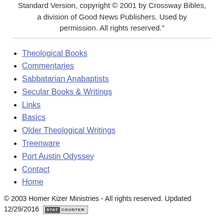Standard Version, copyright © 2001 by Crossway Bibles, a division of Good News Publishers. Used by permission. All rights reserved."
Theological Books
Commentaries
Sabbatarian Anabaptists
Secular Books & Writings
Links
Basics
Older Theological Writings
Treenware
Port Austin Odyssey
Contact
Home
© 2003 Homer Kizer Ministries - All rights reserved. Updated 12/29/2016